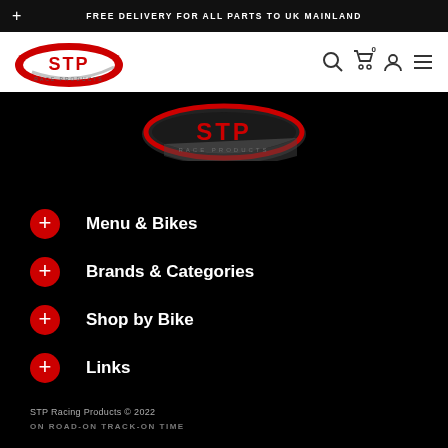FREE DELIVERY FOR ALL PARTS TO UK MAINLAND
[Figure (logo): STP Race Products logo - red oval with white STP text and grey swoosh, white background nav bar]
[Figure (logo): STP Race Products logo on dark/black background, dimmed version]
+ Menu & Bikes
+ Brands & Categories
+ Shop by Bike
+ Links
STP Racing Products © 2022
ON ROAD-ON TRACK-ON TIME